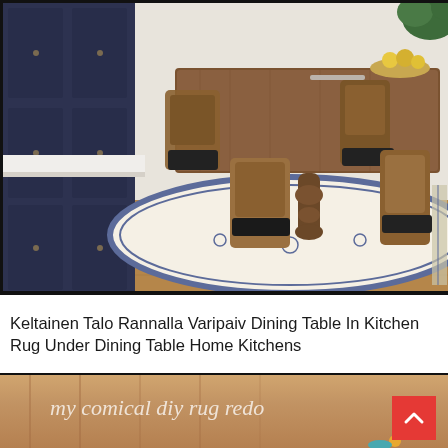[Figure (photo): Interior dining room photo: a rustic farmhouse wooden dining table with ornate turned legs, surrounded by wooden chairs with dark cushions. Navy/dark blue kitchen cabinets visible on the left with a white marble countertop. A large cream/beige area rug with blue floral/medallion border pattern is under the table. Hardwood floors visible. Greenery and fruit bowl on the table in background.]
Keltainen Talo Rannalla Varipaiv Dining Table In Kitchen Rug Under Dining Table Home Kitchens
[Figure (photo): Partial view of a DIY rug project photo with orange/wood-toned background and script text overlay reading 'my comical diy rug redo'. Red scroll-to-top arrow button visible in bottom right corner.]